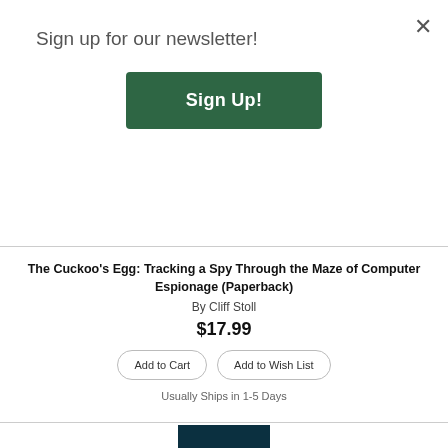Sign up for our newsletter!
Sign Up!
The Cuckoo's Egg: Tracking a Spy Through the Maze of Computer Espionage (Paperback)
By Cliff Stoll
$17.99
Add to Cart
Add to Wish List
Usually Ships in 1-5 Days
[Figure (photo): Book cover of 'The Imposter's War' by Mark Arsenault. Dark teal/blue moody image showing a building (possibly Capitol) at night with trees. White bold title text reads THE IMPOSTER'S WAR with subtitle 'The Press, Propaganda and the newsman who battled for the minds of America' and author name Mark Arsenault at the bottom.]